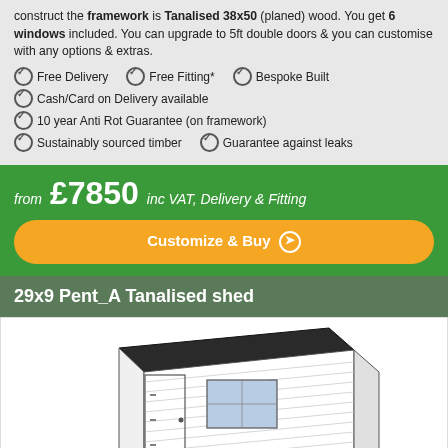construct the framework is Tanalised 38x50 (planed) wood. You get 6 windows included. You can upgrade to 5ft double doors & you can customise with any options & extras.
Free Delivery   Free Fitting*   Bespoke Built
Cash/Card on Delivery available
10 year Anti Rot Guarantee (on framework)
Sustainably sourced timber   Guarantee against leaks
from £7850 inc VAT, Delivery & Fitting
Customize & Buy ❯
29x9 Pent_A Tanalised shed
[Figure (illustration): 3D line drawing illustration of a pent roof garden shed with horizontal cladding, a single door on the left side, one window, and a dark felt roof.]